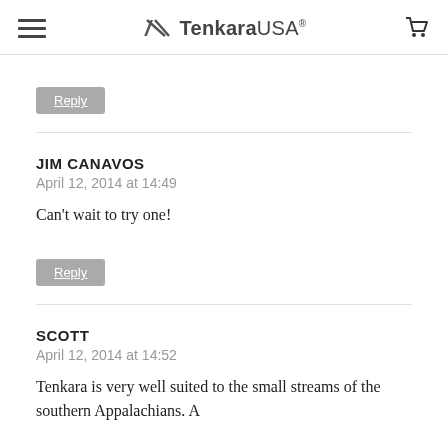Tenkara USA®
Reply
JIM CANAVOS
April 12, 2014 at 14:49

Can't wait to try one!
Reply
SCOTT
April 12, 2014 at 14:52

Tenkara is very well suited to the small streams of the southern Appalachians. A